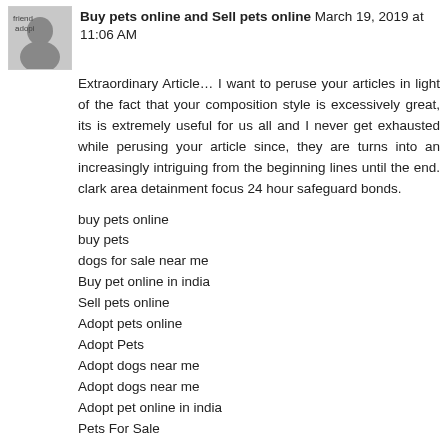Buy pets online and Sell pets online March 19, 2019 at 11:06 AM
Extraordinary Article… I want to peruse your articles in light of the fact that your composition style is excessively great, its is extremely useful for us all and I never get exhausted while perusing your article since, they are turns into an increasingly intriguing from the beginning lines until the end. clark area detainment focus 24 hour safeguard bonds.
buy pets online
buy pets
dogs for sale near me
Buy pet online in india
Sell pets online
Adopt pets online
Adopt Pets
Adopt dogs near me
Adopt dogs near me
Adopt pet online in india
Pets For Sale
Reply